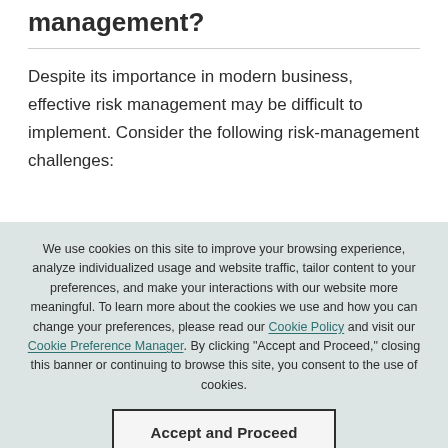management?
Despite its importance in modern business, effective risk management may be difficult to implement. Consider the following risk-management challenges:
We use cookies on this site to improve your browsing experience, analyze individualized usage and website traffic, tailor content to your preferences, and make your interactions with our website more meaningful. To learn more about the cookies we use and how you can change your preferences, please read our Cookie Policy and visit our Cookie Preference Manager. By clicking "Accept and Proceed," closing this banner or continuing to browse this site, you consent to the use of cookies.
Accept and Proceed